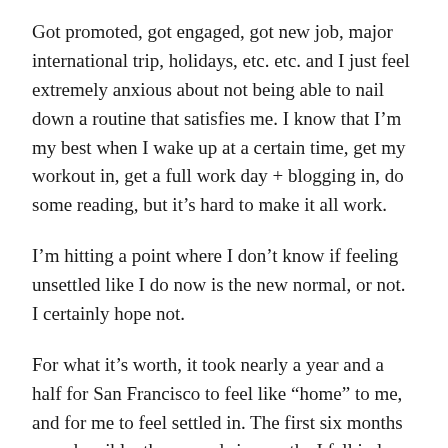Got promoted, got engaged, got new job, major international trip, holidays, etc. etc. and I just feel extremely anxious about not being able to nail down a routine that satisfies me. I know that I'm my best when I wake up at a certain time, get my workout in, get a full work day + blogging in, do some reading, but it's hard to make it all work.
I'm hitting a point where I don't know if feeling unsettled like I do now is the new normal, or not. I certainly hope not.
For what it's worth, it took nearly a year and a half for San Francisco to feel like “home” to me, and for me to feel settled in. The first six months were horrible, the second six months I fell in love with the city, and then